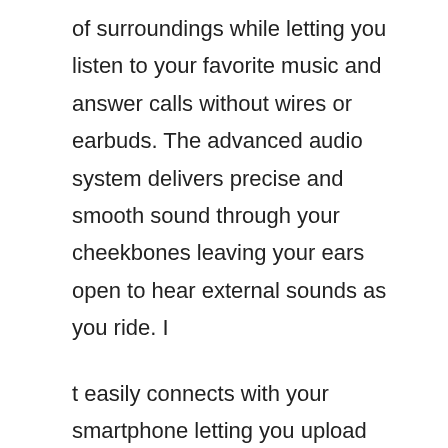of surroundings while letting you listen to your favorite music and answer calls without wires or earbuds. The advanced audio system delivers precise and smooth sound through your cheekbones leaving your ears open to hear external sounds as you ride. I
t easily connects with your smartphone letting you upload your ride data and use the two way audio communication. The included smart remote delivers fast and instantly accessible answers to a phone call, adjusting a volume, change, pause or skip music tracks, turn on or off the LCD lights or receive ride data without the hassle of fumbling for